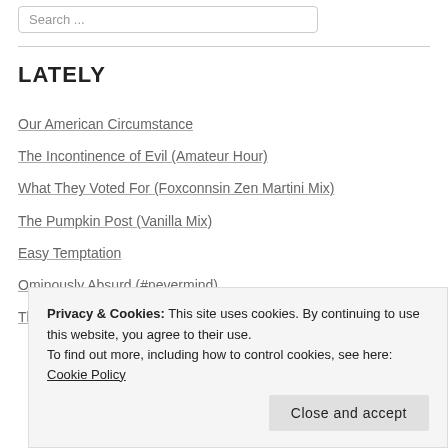Search ...
LATELY
Our American Circumstance
The Incontinence of Evil (Amateur Hour)
What They Voted For (Foxconnsin Zen Martini Mix)
The Pumpkin Post (Vanilla Mix)
Easy Temptation
Ominously Absurd (#nevermind)
The Tulsi Gabbard Show (Partisan Interests)
Privacy & Cookies: This site uses cookies. By continuing to use this website, you agree to their use.
To find out more, including how to control cookies, see here: Cookie Policy
Close and accept